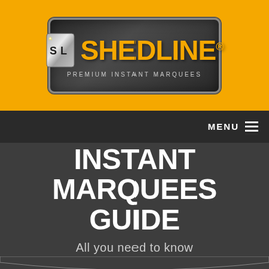[Figure (logo): Shedline Premium Instant Marquees logo — yellow banner background with dark rounded rectangle containing SL icon and SHEDLINE text in gold/amber, tagline PREMIUM INSTANT MARQUEES below]
MENU ≡
INSTANT MARQUEES GUIDE
All you need to know